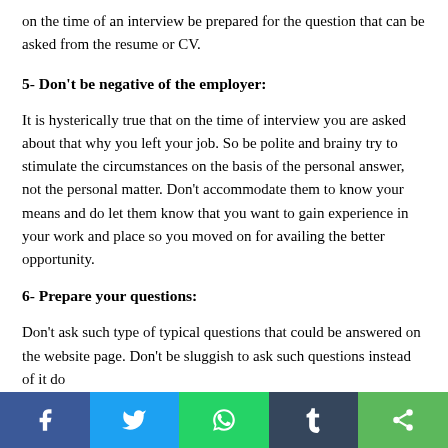on the time of an interview be prepared for the question that can be asked from the resume or CV.
5- Don't be negative of the employer:
It is hysterically true that on the time of interview you are asked about that why you left your job. So be polite and brainy try to stimulate the circumstances on the basis of the personal answer, not the personal matter. Don't accommodate them to know your means and do let them know that you want to gain experience in your work and place so you moved on for availing the better opportunity.
6- Prepare your questions:
Don't ask such type of typical questions that could be answered on the website page. Don't be sluggish to ask such questions instead of it do
[Figure (infographic): Social media share bar with five buttons: Facebook (blue), Twitter (light blue), WhatsApp (green), Tumblr (dark blue-grey), Share/generic (green)]